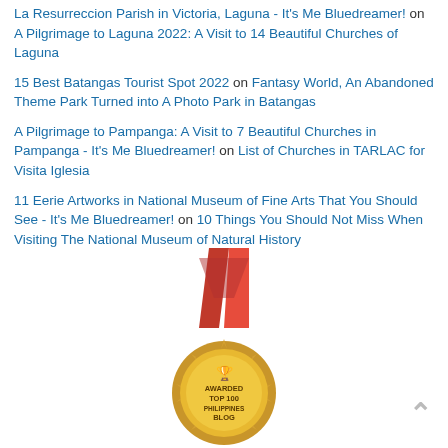La Resurreccion Parish in Victoria, Laguna - It's Me Bluedreamer! on A Pilgrimage to Laguna 2022: A Visit to 14 Beautiful Churches of Laguna
15 Best Batangas Tourist Spot 2022 on Fantasy World, An Abandoned Theme Park Turned into A Photo Park in Batangas
A Pilgrimage to Pampanga: A Visit to 7 Beautiful Churches in Pampanga - It's Me Bluedreamer! on List of Churches in TARLAC for Visita Iglesia
11 Eerie Artworks in National Museum of Fine Arts That You Should See - It's Me Bluedreamer! on 10 Things You Should Not Miss When Visiting The National Museum of Natural History
[Figure (illustration): Gold medal badge with red ribbon awarded as Top 100 Philippines Blog]